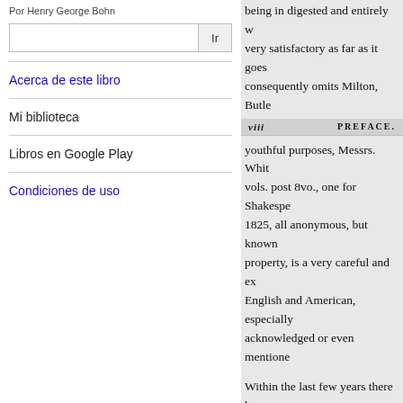Por Henry George Bohn
Ir
Acerca de este libro
Mi biblioteca
Libros en Google Play
Condiciones de uso
viii    PREFACE.
being in digested and entirely w... very satisfactory as far as it goes consequently omits Milton, Butl...
youthful purposes, Messrs. Whit... vols. post 8vo., one for Shakespe... 1825, all anonymous, but known property, is a very careful and ex... English and American, especially acknowledged or even mentione...
Within the last few years there ha... merely of short consecutive extra... reader might make quite as well principal word of a first line, wh... without any authorities whatever books teazing and of scarcely an satisfactory, so far as my examin Familiar Quotations.' This gives
a good Index, which is a great co the selection is very limited, with though professedly according to